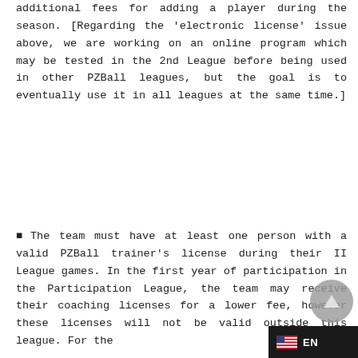additional fees for adding a player during the season. [Regarding the 'electronic license' issue above, we are working on an online program which may be tested in the 2nd League before being used in other PZBall leagues, but the goal is to eventually use it in all leagues at the same time.]
The team must have at least one person with a valid PZBall trainer's license during their II League games. In the first year of participation in the Participation League, the team may receive their coaching licenses for a lower fee, however these licenses will not be valid outside this league. For the